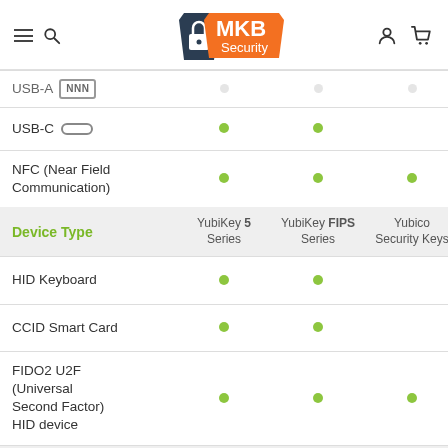MKB Security
|  | YubiKey 5 Series | YubiKey FIPS Series | Yubico Security Keys |
| --- | --- | --- | --- |
| USB-A |  |  |  |
| USB-C | • | • |  |
| NFC (Near Field Communication) | • | • | • |
| Device Type | YubiKey 5 Series | YubiKey FIPS Series | Yubico Security Keys |
| HID Keyboard | • | • |  |
| CCID Smart Card | • | • |  |
| FIDO2 U2F (Universal Second Factor) HID device | • | • | • |
| Cryptographic | YubiKey 5 | YubiKey FIPS | Yubico |